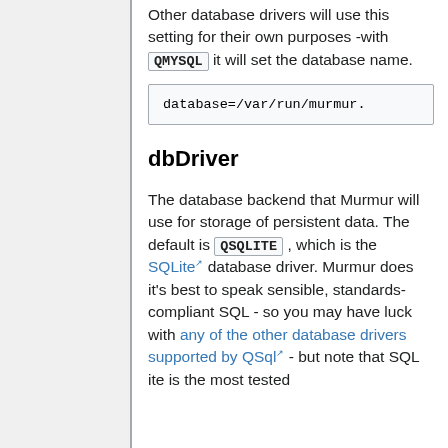Other database drivers will use this setting for their own purposes -with QMYSQL it will set the database name.
database=/var/run/murmur.
dbDriver
The database backend that Murmur will use for storage of persistent data. The default is QSQLITE , which is the SQLite database driver. Murmur does it's best to speak sensible, standards-compliant SQL - so you may have luck with any of the other database drivers supported by QSql - but note that SQLite is the most tested